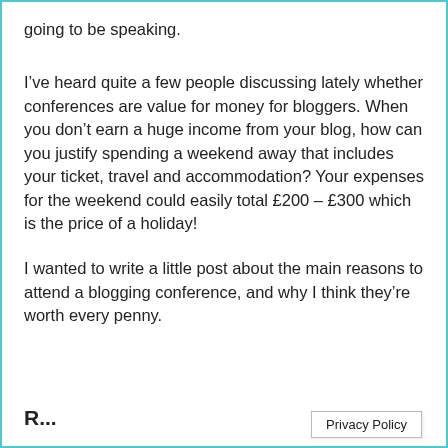going to be speaking.
I’ve heard quite a few people discussing lately whether conferences are value for money for bloggers. When you don’t earn a huge income from your blog, how can you justify spending a weekend away that includes your ticket, travel and accommodation? Your expenses for the weekend could easily total £200 – £300 which is the price of a holiday!
I wanted to write a little post about the main reasons to attend a blogging conference, and why I think they’re worth every penny.
Privacy Policy